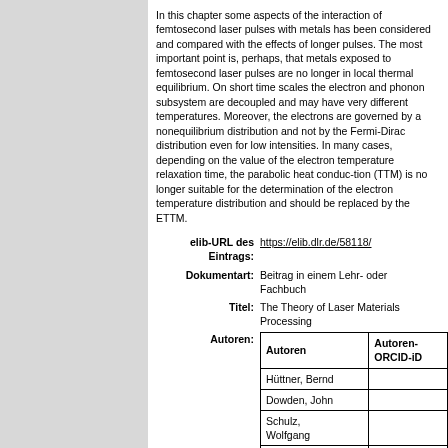In this chapter some aspects of the interaction of femtosecond laser pulses with metals has been considered and compared with the effects of longer pulses. The most important point is, perhaps, that metals exposed to femtosecond laser pulses are no longer in local thermal equilibrium. On short time scales the electron and phonon subsystem are decoupled and may have very different temperatures. Moreover, the electrons are governed by a nonequilibrium distribution and not by the Fermi-Dirac distribution even for low intensities. In many cases, depending on the value of the electron temperature relaxation time, the parabolic heat conduc-tion (TTM) is no longer suitable for the determination of the electron temperature distribution and should be replaced by the ETTM.
elib-URL des Eintrags: https://elib.dlr.de/58118/
Dokumentart: Beitrag in einem Lehr- oder Fachbuch
Titel: The Theory of Laser Materials Processing
| Autoren | Autoren-ORCID-iD |
| --- | --- |
| Hüttner, Bernd |  |
| Dowden, John |  |
| Schulz, Wolfgang |  |
| Kaplan, Alexander |  |
| Richardson, Ian |  |